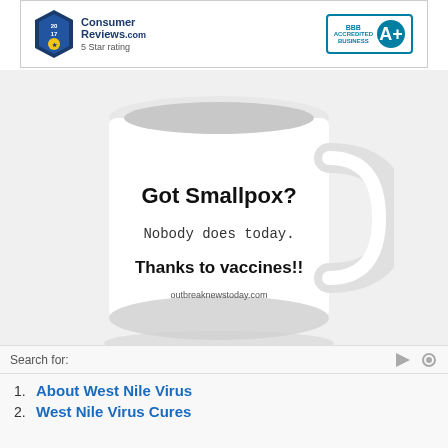[Figure (screenshot): Consumer Reviews 2017 5 Star rating banner with BBB Accredited Business A+ badge]
[Figure (photo): White coffee mug with text: Got Smallpox? Nobody does today. Thanks to vaccines!! outbreaknewstoday.com]
Search for:
1. About West Nile Virus
2. West Nile Virus Cures